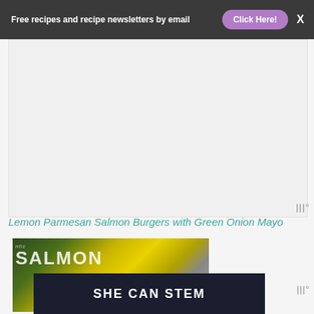Free recipes and recipe newsletters by email  Click Here!  X
[Figure (other): Advertisement placeholder area — light gray blank ad unit]
Lemon Parmesan Salmon Burgers with Green Onion Mayo
[Figure (photo): Photo of salmon package with 'SALMON' text visible in large white letters over a dark green/yellow background, partially overlaid by a dark banner reading 'SHE CAN STEM' in bold white uppercase letters]